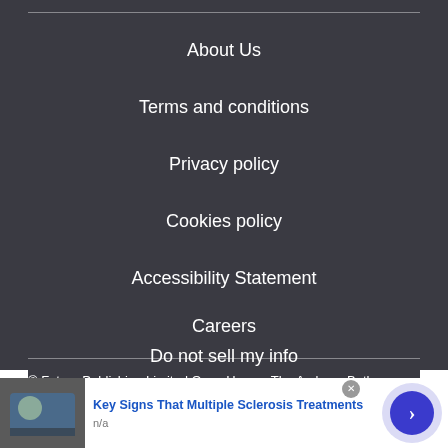About Us
Terms and conditions
Privacy policy
Cookies policy
Accessibility Statement
Careers
Do not sell my info
© Future Publishing Limited Quay House, The Ambury, Bath
[Figure (infographic): Advertisement overlay showing a child with MS-related content. Headline: Key Signs That Multiple Sclerosis Treatments. Subtext: n/a. Navigation arrow button on right.]